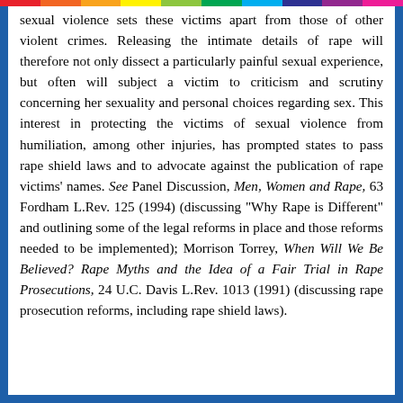sexual violence sets these victims apart from those of other violent crimes. Releasing the intimate details of rape will therefore not only dissect a particularly painful sexual experience, but often will subject a victim to criticism and scrutiny concerning her sexuality and personal choices regarding sex. This interest in protecting the victims of sexual violence from humiliation, among other injuries, has prompted states to pass rape shield laws and to advocate against the publication of rape victims' names. See Panel Discussion, Men, Women and Rape, 63 Fordham L.Rev. 125 (1994) (discussing "Why Rape is Different" and outlining some of the legal reforms in place and those reforms needed to be implemented); Morrison Torrey, When Will We Be Believed? Rape Myths and the Idea of a Fair Trial in Rape Prosecutions, 24 U.C. Davis L.Rev. 1013 (1991) (discussing rape prosecution reforms, including rape shield laws).